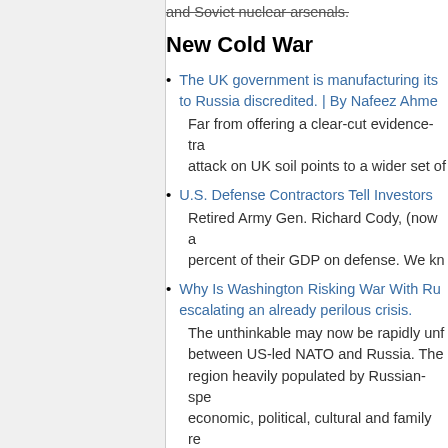and Soviet nuclear arsenals.
New Cold War
The UK government is manufacturing its to Russia discredited. | By Nafeez Ahme
Far from offering a clear-cut evidence-tra attack on UK soil points to a wider set of
U.S. Defense Contractors Tell Investors
Retired Army Gen. Richard Cody, (now a percent of their GDP on defense. We kn
Why Is Washington Risking War With Ru escalating an already perilous crisis.
The unthinkable may now be rapidly unf between US-led NATO and Russia. The region heavily populated by Russian-spe economic, political, cultural and family re
Gen. Dempsey: We're Pulling Out Our C Russia activities to Soviet invasion of Po
Hours after the U.S. State Department o